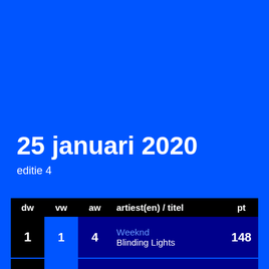25 januari 2020
editie 4
| dw | vw | aw | artiest(en) / titel | pt |
| --- | --- | --- | --- | --- |
| 1 | 1 | 4 | Weeknd
Blinding Lights | 148 |
| 2 | 2 | 4 | Dua Lipa
Don't Start Now | 145 |
| 3 | 7 | 3 | Snelle
Smoorverliefd | 144 |
|  |  |  | Maroon 5 |  |